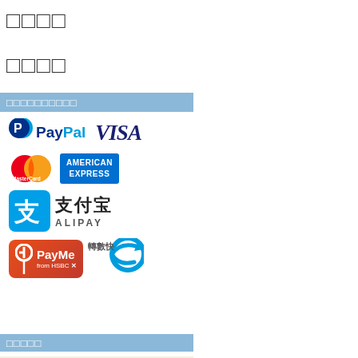□□□□
□□□□
□□□□□□□□□□
[Figure (infographic): Payment method logos: PayPal, VISA, MasterCard, American Express, Alipay (支付宝), PayMe from HSBC, FPS (轉數快)]
□□□□□
[Figure (photo): Person holding a bouquet of yellow roses wrapped in white paper]